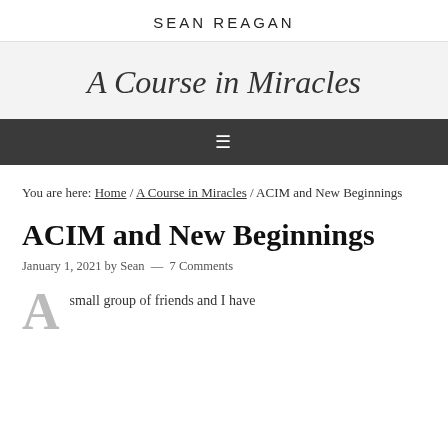SEAN REAGAN
A Course in Miracles
You are here: Home / A Course in Miracles / ACIM and New Beginnings
ACIM and New Beginnings
January 1, 2021 by Sean — 7 Comments
small group of friends and I have